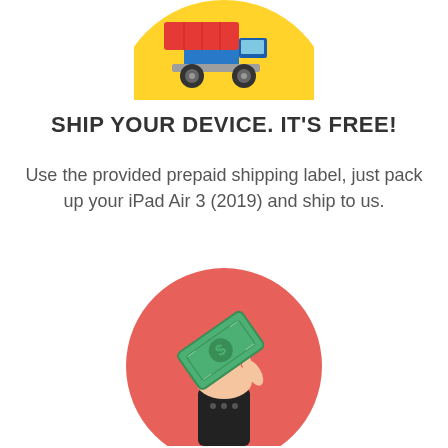[Figure (illustration): Yellow circle with a blue delivery truck carrying a red container, wheels visible, top portion cropped]
SHIP YOUR DEVICE. IT'S FREE!
Use the provided prepaid shipping label, just pack up your iPad Air 3 (2019) and ship to us.
[Figure (illustration): Red/coral circle with a hand holding up a green dollar bill with a dollar sign, wearing a black suit sleeve]